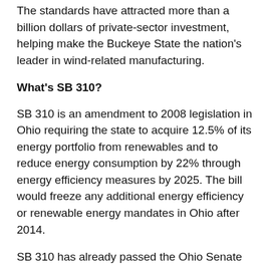The standards have attracted more than a billion dollars of private-sector investment, helping make the Buckeye State the nation's leader in wind-related manufacturing.
What's SB 310?
SB 310 is an amendment to 2008 legislation in Ohio requiring the state to acquire 12.5% of its energy portfolio from renewables and to reduce energy consumption by 22% through energy efficiency measures by 2025. The bill would freeze any additional energy efficiency or renewable energy mandates in Ohio after 2014.
SB 310 has already passed the Ohio Senate and is expected to enter the House within the next week, and promises to end the state's renewable portfolio standards (RPS) and energy efficiency directives.